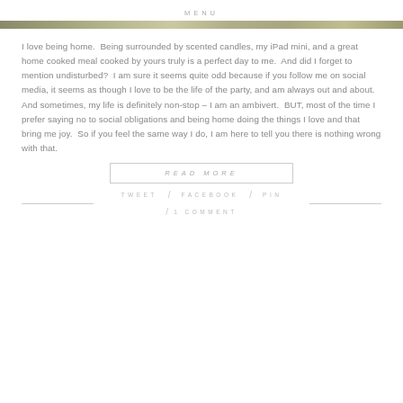MENU
[Figure (photo): Narrow horizontal photo strip showing an outdoor scene with greenery/trees]
I love being home.  Being surrounded by scented candles, my iPad mini, and a great home cooked meal cooked by yours truly is a perfect day to me.  And did I forget to mention undisturbed?  I am sure it seems quite odd because if you follow me on social media, it seems as though I love to be the life of the party, and am always out and about.  And sometimes, my life is definitely non-stop – I am an ambivert.  BUT, most of the time I prefer saying no to social obligations and being home doing the things I love and that bring me joy.  So if you feel the same way I do, I am here to tell you there is nothing wrong with that.
READ MORE
TWEET / FACEBOOK / PIN
/ 1 COMMENT